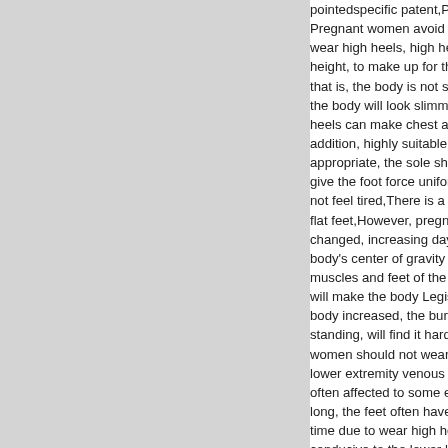pointedspecific patent,Pregnant women avoid wear high heels, high heels height, to make up for the that is, the body is not sho the body will look slimmer heels can make chest abo addition, highly suitable fo appropriate, the sole shap give the foot force uniform not feel tired,There is a fu flat feet,However, pregna changed, increasing day b body's center of gravity fo muscles and feet of the b will make the body Legis body increased, the burde standing, will find it hard t women should not wear h lower extremity venous re often affected to some ext long, the feet often have c time due to wear high hee conducive to the lower lim